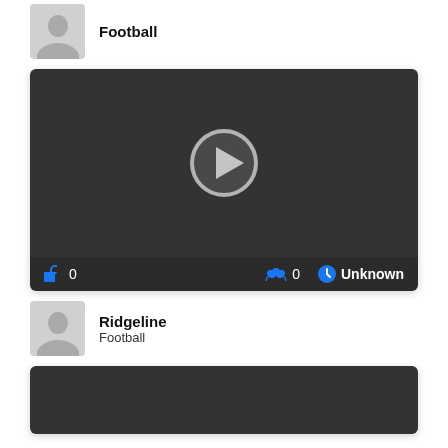[Figure (screenshot): Top profile row partially visible: avatar placeholder and 'Football' label]
[Figure (screenshot): Video player thumbnail with dark background and play button, stats bar showing likes 0, viewers 0, duration Unknown]
Ridgeline
Football
[Figure (screenshot): Second video card partially visible at bottom of page]